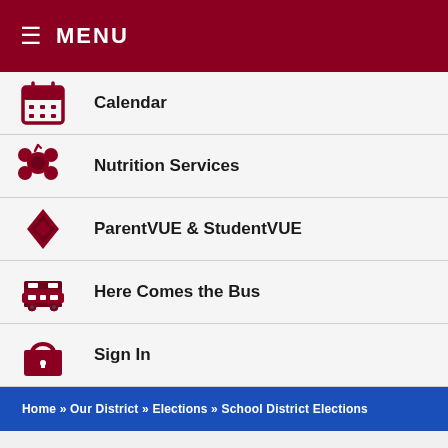≡ MENU
Calendar
Nutrition Services
ParentVUE & StudentVUE
Here Comes the Bus
Sign In
Home » Our District » Elections » School District Elections